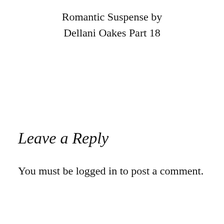Romantic Suspense by Dellani Oakes Part 18
Leave a Reply
You must be logged in to post a comment.